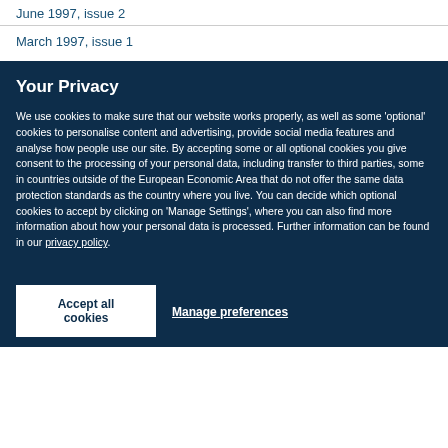June 1997, issue 2
March 1997, issue 1
Your Privacy
We use cookies to make sure that our website works properly, as well as some ‘optional’ cookies to personalise content and advertising, provide social media features and analyse how people use our site. By accepting some or all optional cookies you give consent to the processing of your personal data, including transfer to third parties, some in countries outside of the European Economic Area that do not offer the same data protection standards as the country where you live. You can decide which optional cookies to accept by clicking on ‘Manage Settings’, where you can also find more information about how your personal data is processed. Further information can be found in our privacy policy.
Accept all cookies
Manage preferences